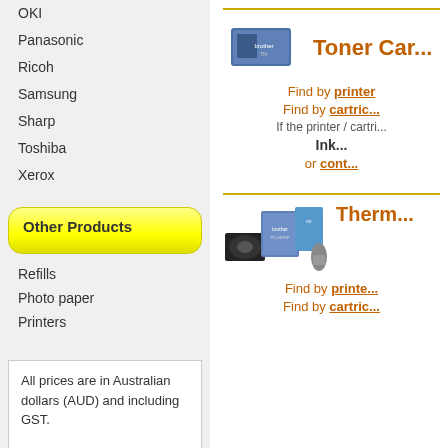OKI
Panasonic
Ricoh
Samsung
Sharp
Toshiba
Xerox
Other Products
Refills
Photo paper
Printers
All prices are in Australian dollars (AUD) and including GST.

We accept these payment methods:
[Figure (logo): Visa and Mastercard payment logos]
[Figure (photo): Toner cartridge product image - Brother brand box]
Toner Car...
Find by printer
Find by cartridge
If the printer / cartri...
Ink...
or cont...
[Figure (photo): Thermal transfer products - Brother brand ink ribbons and label tape]
Therm...
Find by printe...
Find by cartric...